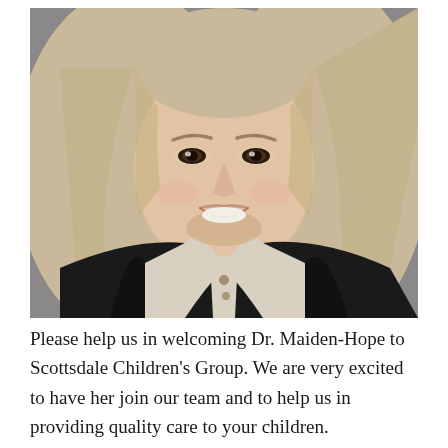[Figure (photo): Professional headshot of Dr. Maiden-Hope, a woman with long blonde hair, smiling, wearing a black top with a light-colored collar, against a grey background.]
Please help us in welcoming Dr. Maiden-Hope to Scottsdale Children's Group. We are very excited to have her join our team and to help us in providing quality care to your children.